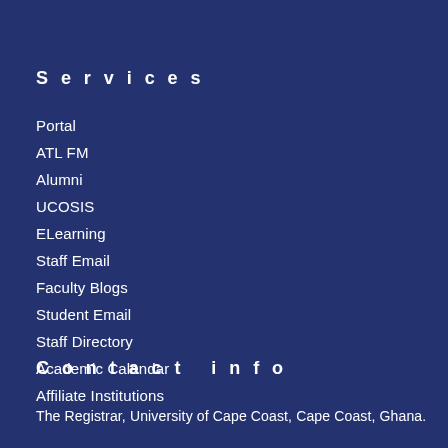Services
Portal
ATL FM
Alumni
UCOSIS
ELearning
Staff Email
Faculty Blogs
Student Email
Staff Directory
Academic Calendar
Affiliate Institutions
Contact info
The Registrar, University of Cape Coast, Cape Coast, Ghana.